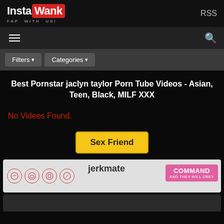InstaWank FAP WITH US! RSS
Best Pornstar jaclyn taylor Porn Tube Videos - Asian, Teen, Black, MILF XXX
No Videos Found.
Sex Friend
[Figure (photo): Jerkmate advertisement banner with COMMAND AND THEY WILL OBEY text and female figure]